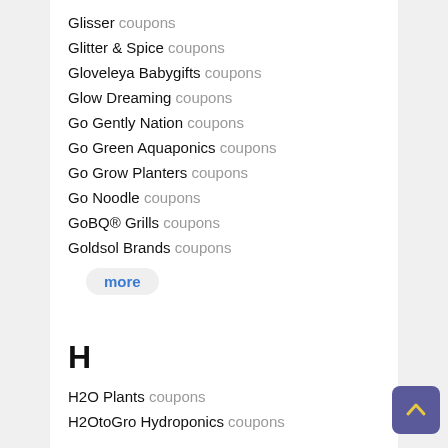Glisser coupons
Glitter & Spice coupons
Gloveleya Babygifts coupons
Glow Dreaming coupons
Go Gently Nation coupons
Go Green Aquaponics coupons
Go Grow Planters coupons
Go Noodle coupons
GoBQ® Grills coupons
Goldsol Brands coupons
more
H
H2O Plants coupons
H2OtoGro Hydroponics coupons